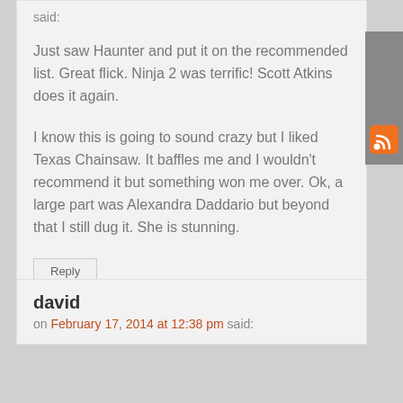said:
Just saw Haunter and put it on the recommended list. Great flick. Ninja 2 was terrific! Scott Atkins does it again.

I know this is going to sound crazy but I liked Texas Chainsaw. It baffles me and I wouldn't recommend it but something won me over. Ok, a large part was Alexandra Daddario but beyond that I still dug it. She is stunning.
Reply
david
on February 17, 2014 at 12:38 pm said: